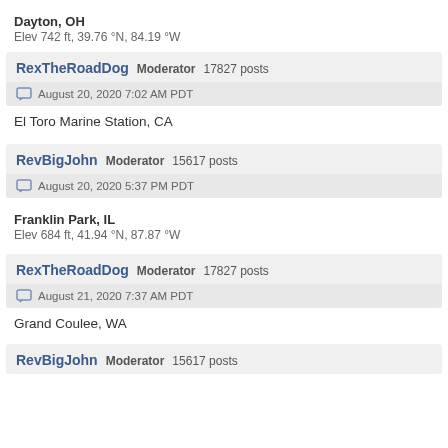Dayton, OH
Elev 742 ft, 39.76 °N, 84.19 °W
RexTheRoadDog  Moderator  17827 posts
August 20, 2020 7:02 AM PDT
El Toro Marine Station, CA
RevBigJohn  Moderator  15617 posts
August 20, 2020 5:37 PM PDT
Franklin Park, IL
Elev 684 ft, 41.94 °N, 87.87 °W
RexTheRoadDog  Moderator  17827 posts
August 21, 2020 7:37 AM PDT
Grand Coulee, WA
RevBigJohn  Moderator  15617 posts